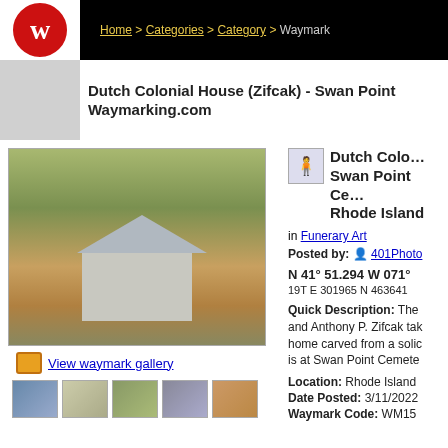Home > Categories > Category > Waymark
Dutch Colonial House (Zifcak) - Swan Point Cemetery - Providence, Rhode Island - Waymarking.com
Dutch Colonial House (Zifcak) - Swan Point Cemetery - Providence, Rhode Island
in Funerary Art
Posted by: 401Photo
N 41° 51.294 W 071°
19T E 301965 N 4636410
Quick Description: The Zifcak family and Anthony P. Zifcak take their home carved from a solid stone is at Swan Point Cemetery...
[Figure (photo): Photo of Dutch Colonial house-shaped gravestone at Swan Point Cemetery]
View waymark gallery
[Figure (photo): Thumbnail 1 of waymark gallery]
[Figure (photo): Thumbnail 2 of waymark gallery]
[Figure (photo): Thumbnail 3 of waymark gallery]
[Figure (photo): Thumbnail 4 of waymark gallery]
[Figure (photo): Thumbnail 5 of waymark gallery]
Location: Rhode Island
Date Posted: 3/11/2022
Waymark Code: WM15